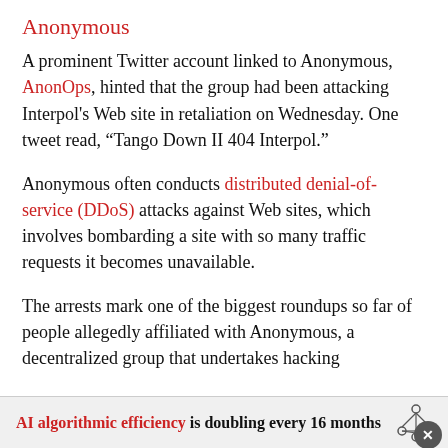Anonymous
A prominent Twitter account linked to Anonymous, AnonOps, hinted that the group had been attacking Interpol's Web site in retaliation on Wednesday. One tweet read, “Tango Down II 404 Interpol.”
Anonymous often conducts distributed denial-of-service (DDoS) attacks against Web sites, which involves bombarding a site with so many traffic requests it becomes unavailable.
The arrests mark one of the biggest roundups so far of people allegedly affiliated with Anonymous, a decentralized group that undertakes hacking
AI algorithmic efficiency is doubling every 16 months